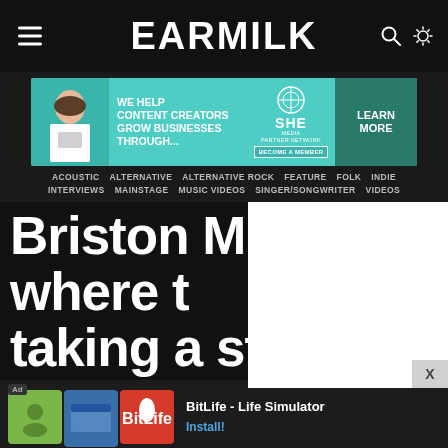EARMILK
[Figure (infographic): SHE Media Partner Network advertisement banner with teal background, showing woman with laptop, text 'WE HELP CONTENT CREATORS GROW BUSINESSES THROUGH...' and LEARN MORE button]
ACOUSTIC  ALTERNATIVE  ALTERNATIVE ROCK  FEATURE  FOLK  INDIE  INTERVIEWS  MAINSTAGE  MUSIC VIDEOS  SINGER/SONGWRITER  VIDEOS
Briston M... where t... taking a stab at [...]
[Figure (infographic): BitLife Life Simulator mobile app advertisement at bottom of screen with green, blue, and red app icon images]